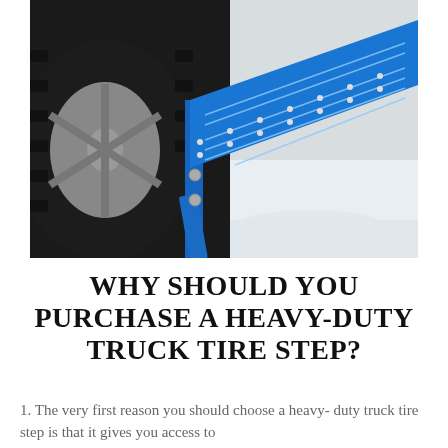[Figure (photo): A blue heavy-duty truck tire step mounted on a vehicle's tire/wheel. The step has a textured grate surface and blue metal frame. Snow is visible on the ground and tire.]
WHY SHOULD YOU PURCHASE A HEAVY-DUTY TRUCK TIRE STEP?
1. The very first reason you should choose a heavy-duty truck tire step is that it gives you access to